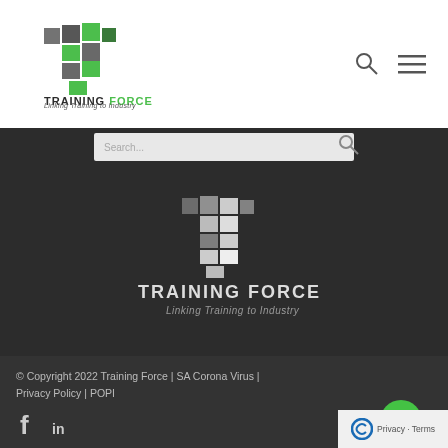[Figure (logo): Training Force logo — stylized T made of green and dark square tiles, with 'TRAINING FORCE' text and tagline 'Linking Training to Industry' in top header bar]
[Figure (screenshot): Search bar input field with search icon on dark background]
[Figure (logo): Training Force logo in white/grey on dark background — stylized T made of grey square tiles, with 'TRAINING FORCE' bold text and italic tagline 'Linking Training to Industry']
© Copyright 2022 Training Force | SA Corona Virus | Privacy Policy | POPI
[Figure (infographic): Facebook and LinkedIn social media icons in white on dark background, plus green share button with share icon, and Privacy - Terms badge]